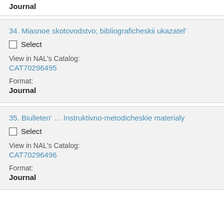Journal
34. Miasnoe skotovodstvo; bibliograficheskii ukazatel'
Select
View in NAL's Catalog:
CAT70296495
Format:
Journal
35. Biulleten' ... Instruktivno-metodicheskie materialy
Select
View in NAL's Catalog:
CAT70296496
Format:
Journal